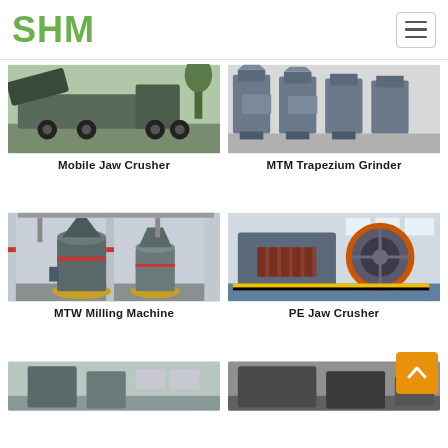SHM
[Figure (photo): Mobile Jaw Crusher — heavy machinery on a truck in outdoor setting]
Mobile Jaw Crusher
[Figure (photo): MTM Trapezium Grinder — multiple grey industrial grinding machines in a warehouse]
MTM Trapezium Grinder
[Figure (photo): MTW Milling Machine — tall cylindrical milling machines in an industrial hall]
MTW Milling Machine
[Figure (photo): PE Jaw Crusher — large jaw crusher with orange and grey parts in a factory]
PE Jaw Crusher
[Figure (photo): Partially visible equipment in bottom-left]
[Figure (photo): Partially visible dark equipment in bottom-right]